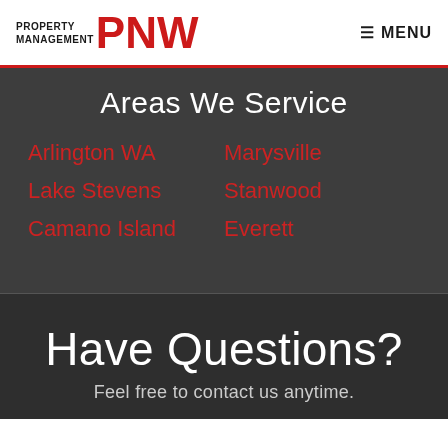PROPERTY MANAGEMENT PNW  ☰ MENU
Areas We Service
Arlington WA
Marysville
Lake Stevens
Stanwood
Camano Island
Everett
Have Questions?
Feel free to contact us anytime.